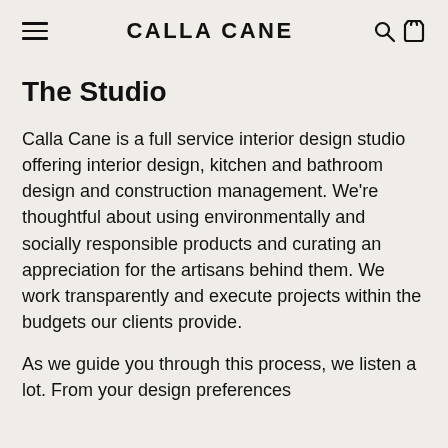CALLA CANE
The Studio
Calla Cane is a full service interior design studio offering interior design, kitchen and bathroom design and construction management. We're thoughtful about using environmentally and socially responsible products and curating an appreciation for the artisans behind them. We work transparently and execute projects within the budgets our clients provide.
As we guide you through this process, we listen a lot. From your design preferences